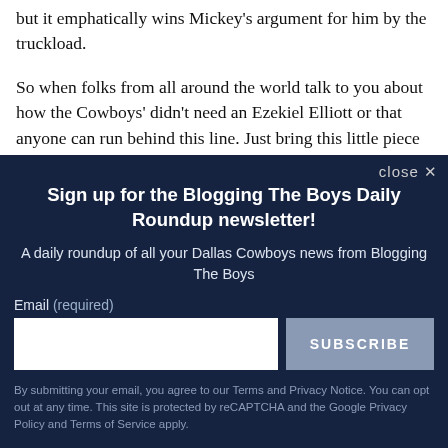but it emphatically wins Mickey's argument for him by the truckload.
So when folks from all around the world talk to you about how the Cowboys' didn't need an Ezekiel Elliott or that anyone can run behind this line. Just bring this little piece out of the case for good measure. Sure, the
close ×
Sign up for the Blogging The Boys Daily Roundup newsletter!
A daily roundup of all your Dallas Cowboys news from Blogging The Boys
Email (required)
SUBSCRIBE
By submitting your email, you agree to our Terms and Privacy Notice. You can opt out at any time. This site is protected by reCAPTCHA and the Google Privacy Policy and Terms of Service apply.